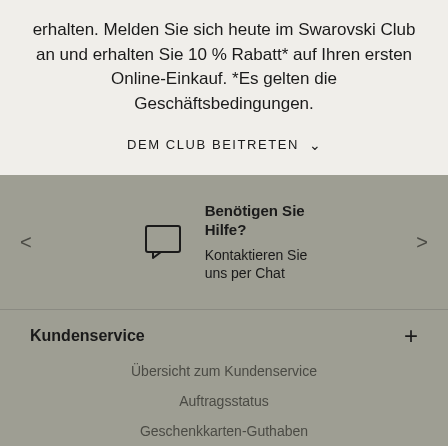erhalten. Melden Sie sich heute im Swarovski Club an und erhalten Sie 10 % Rabatt* auf Ihren ersten Online-Einkauf. *Es gelten die Geschäftsbedingungen.
DEM CLUB BEITRETEN ∨
Benötigen Sie Hilfe? Kontaktieren Sie uns per Chat
Kundenservice
Übersicht zum Kundenservice
Auftragsstatus
Geschenkkarten-Guthaben